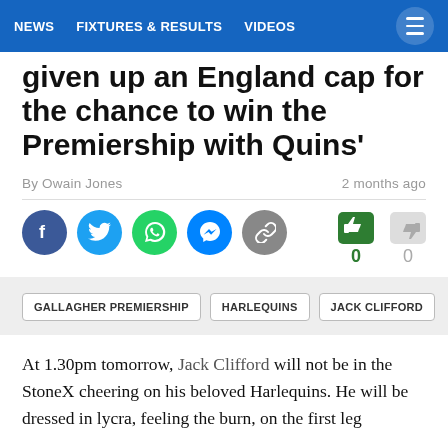NEWS   FIXTURES & RESULTS   VIDEOS
given up an England cap for the chance to win the Premiership with Quins'
By Owain Jones   2 months ago
[Figure (infographic): Social share icons: Facebook, Twitter, WhatsApp, Messenger, Link. Vote buttons: thumbs up (green, 0) and thumbs up (gray, 0).]
GALLAGHER PREMIERSHIP
HARLEQUINS
JACK CLIFFORD
At 1.30pm tomorrow, Jack Clifford will not be in the StoneX cheering on his beloved Harlequins. He will be dressed in lycra, feeling the burn, on the first leg